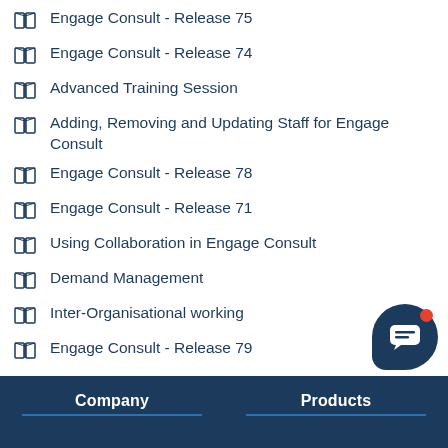Engage Consult - Release 75
Engage Consult - Release 74
Advanced Training Session
Adding, Removing and Updating Staff for Engage Consult
Engage Consult - Release 78
Engage Consult - Release 71
Using Collaboration in Engage Consult
Demand Management
Inter-Organisational working
Engage Consult - Release 79
Company    Products